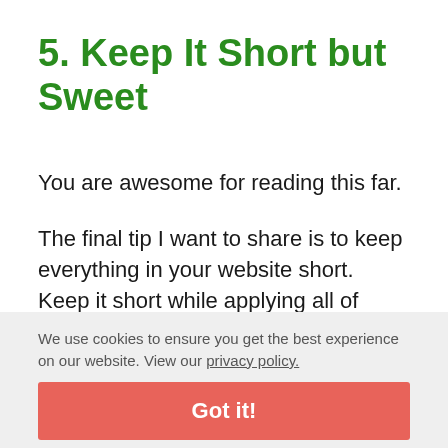5. Keep It Short but Sweet
You are awesome for reading this far.
The final tip I want to share is to keep everything in your website short. Keep it short while applying all of
We use cookies to ensure you get the best experience on our website. View our privacy policy.
Got it!
Write about the things that you can do for them. Write something short and sweet that they can't refuse. Write about something they want to read